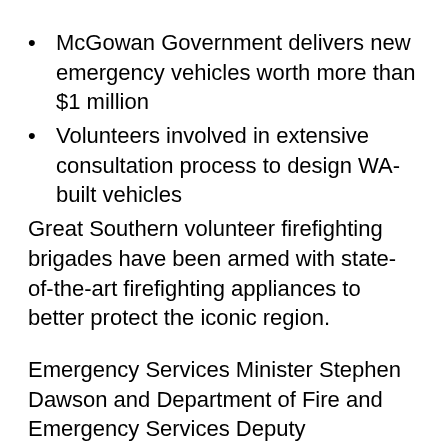McGowan Government delivers new emergency vehicles worth more than $1 million
Volunteers involved in extensive consultation process to design WA-built vehicles
Great Southern volunteer firefighting brigades have been armed with state-of-the-art firefighting appliances to better protect the iconic region.
Emergency Services Minister Stephen Dawson and Department of Fire and Emergency Services Deputy Commissioner Craig Waters travelled to the Great Southern